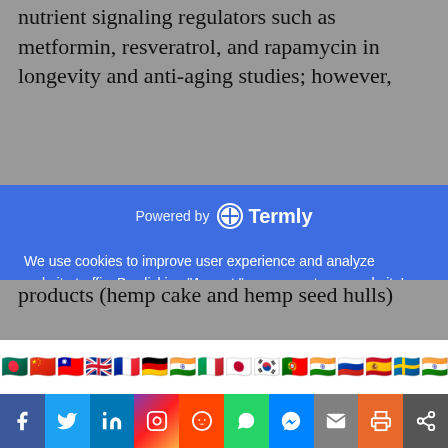nutrient signaling regulators such as metformin, resveratrol, and rapamycin in longevity and anti-aging studies; however,
[Figure (screenshot): Cookie consent popup overlay with Termly branding on a blue background, containing consent text about cookies, a Cookie Policy link, a Preferences link, and three buttons: DECLINE, ACCEPT, and PREFERENCES.]
products (hemp cake and hemp seed hulls)
[Figure (screenshot): Row of country flag icons for language selection: Bangladesh, China, Taiwan, UK, France, Germany, India, Italy, Japan, South Korea, Portugal, India (Hindi), Russia, Spain, Sweden, and another flag.]
[Figure (screenshot): Social media sharing bar with icons for Facebook (blue), Twitter (light blue), LinkedIn (dark blue), Instagram (gradient), Reddit (orange), WhatsApp (green), Messenger (blue), Email (gray), Print (orange), Share (gray).]